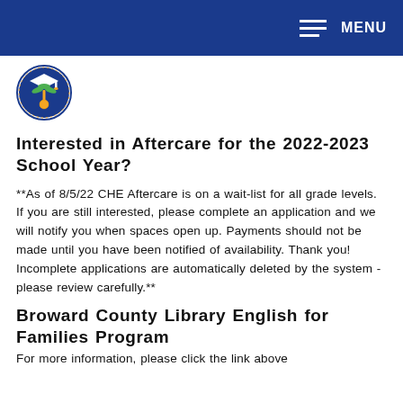MENU
[Figure (logo): Broward After School Care program circular logo with palm tree and graduation cap]
Interested in Aftercare for the 2022-2023 School Year?
**As of 8/5/22 CHE Aftercare is on a wait-list for all grade levels. If you are still interested, please complete an application and we will notify you when spaces open up. Payments should not be made until you have been notified of availability. Thank you! Incomplete applications are automatically deleted by the system - please review carefully.**
Broward County Library English for Families Program
For more information, please click the link above